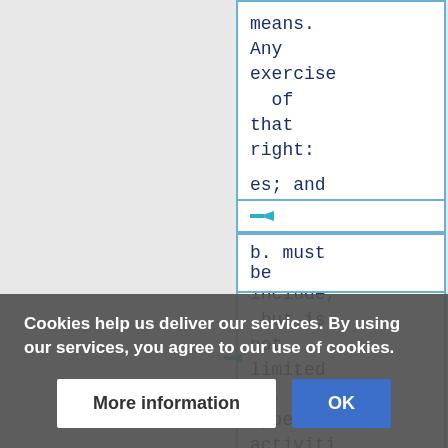means. Any exercise of that right:
+
a. may include, but is not limited to, cyber activities; and
b. must be
Cookies help us deliver our services. By using our services, you agree to our use of cookies.